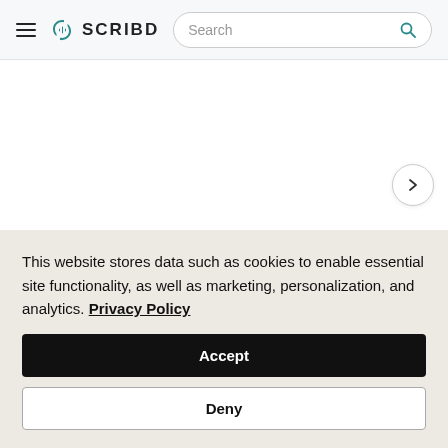SCRIBD
[Figure (screenshot): Scribd website header with hamburger menu, Scribd logo, and search bar]
[Figure (screenshot): White content area with a carousel right-chevron navigation button]
Blindsighted   Blindsighted   Kisscut
This website stores data such as cookies to enable essential site functionality, as well as marketing, personalization, and analytics. Privacy Policy
Accept
Deny